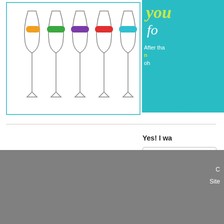[Figure (illustration): Five wine glasses in a row with colored label tags inside each glass. Labels are orange, green, purple, red/pink, and cyan colored pills with small text on them. Image has a teal/cyan border.]
[Figure (infographic): Teal/turquoise banner in the top-right corner with text: 'you', 'fo' (script), 'After tha', 'n', 'oh' — a newsletter/subscription promotional banner with yellow-green and white text.]
Yes! I wa
email ad
SUBSCR
C   Site
Site